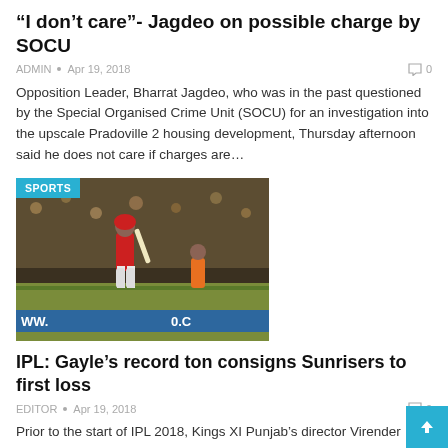"I don’t care"- Jagdeo on possible charge by SOCU
ADMIN • Apr 19, 2018  0
Opposition Leader, Bharrat Jagdeo, who was in the past questioned by the Special Organised Crime Unit (SOCU) for an investigation into the upscale Pradoville 2 housing development, Thursday afternoon said he does not care if charges are…
[Figure (photo): Cricket match photo showing a batsman in red uniform playing, with SPORTS badge overlay]
IPL: Gayle’s record ton consigns Sunrisers to first loss
EDITOR • Apr 19, 2018  0
Prior to the start of IPL 2018, Kings XI Punjab’s director Virender Sehwag said Chris Gayle would be worth the money spent on him...